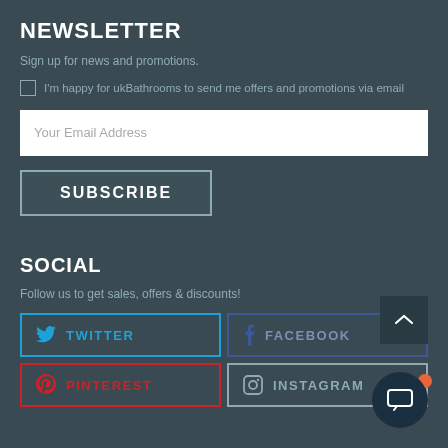NEWSLETTER
Sign up for news and promotions.
I'm happy for ukBathrooms to send me offers and promotions via email
Your Email Address
SUBSCRIBE
SOCIAL
Follow us to get sales, offers & discounts!
TWITTER
FACEBOOK
PINTEREST
INSTAGRAM